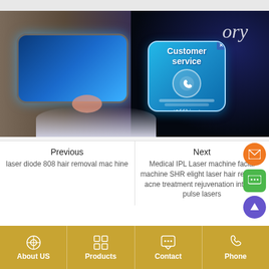[Figure (screenshot): Website screenshot showing a VR/AR themed hero image with a man wearing VR goggles, and a Customer Service chat popup (Offline) overlaid on the image. Below the hero image are Previous/Next navigation links to related products.]
Previous
laser diode 808 hair removal machine
Next
Medical IPL Laser machine facial machine SHR elight laser hair removal acne treatment rejuvenation intense pulse lasers
About US | Products | Contact | Phone